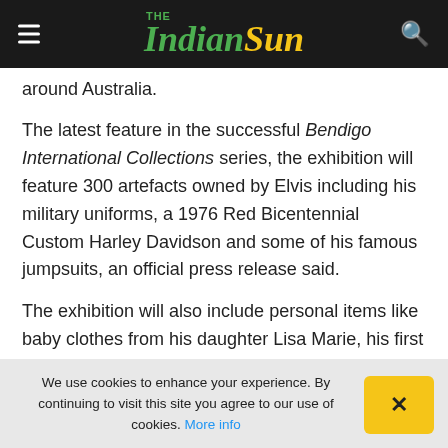The Indian Sun
around Australia.
The latest feature in the successful Bendigo International Collections series, the exhibition will feature 300 artefacts owned by Elvis including his military uniforms, a 1976 Red Bicentennial Custom Harley Davidson and some of his famous jumpsuits, an official press release said.
The exhibition will also include personal items like baby clothes from his daughter Lisa Marie, his first job application and his first-grade crayon box he took to school.
This is a partial line of text that continues below...
We use cookies to enhance your experience. By continuing to visit this site you agree to our use of cookies. More info